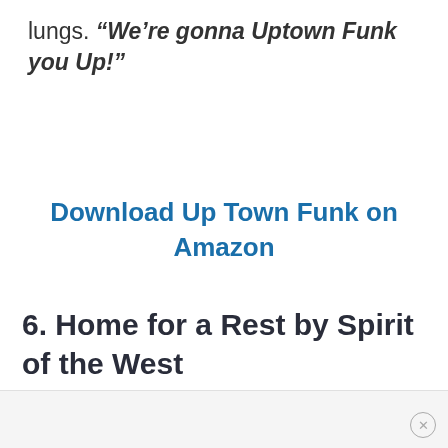lungs. “We’re gonna Uptown Funk you Up!”
Download Up Town Funk on Amazon
6. Home for a Rest by Spirit of the West